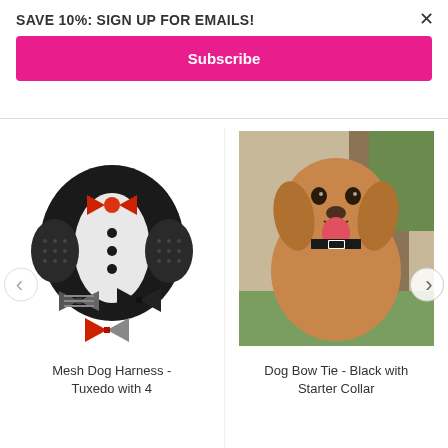SAVE 10%: SIGN UP FOR EMAILS!
Subscribe
[Figure (photo): Mesh dog harness styled as a tuxedo with a red bow tie, shown with additional interchangeable bow ties in black/grey stripe, solid black, and red/grey combinations]
[Figure (photo): Golden/brown dog wearing a black bow tie with a white center collar, sitting outdoors near trees]
Mesh Dog Harness - Tuxedo with 4
Dog Bow Tie - Black with Starter Collar